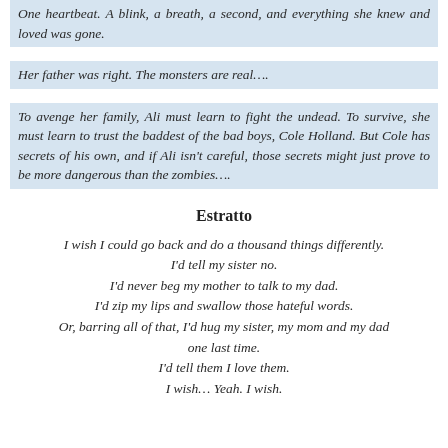One heartbeat. A blink, a breath, a second, and everything she knew and loved was gone.
Her father was right. The monsters are real….
To avenge her family, Ali must learn to fight the undead. To survive, she must learn to trust the baddest of the bad boys, Cole Holland. But Cole has secrets of his own, and if Ali isn't careful, those secrets might just prove to be more dangerous than the zombies….
Estratto
I wish I could go back and do a thousand things differently.
I'd tell my sister no.
I'd never beg my mother to talk to my dad.
I'd zip my lips and swallow those hateful words.
Or, barring all of that, I'd hug my sister, my mom and my dad one last time.
I'd tell them I love them.
I wish… Yeah. I wish.